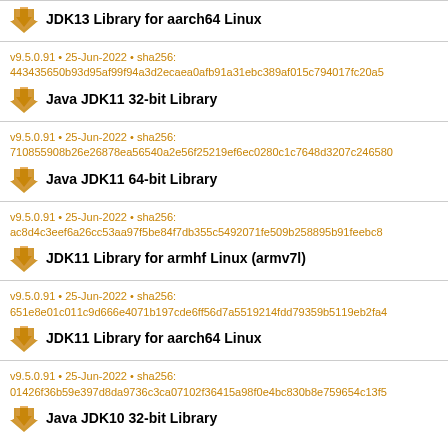JDK13 Library for aarch64 Linux (partial, top cut off)
v9.5.0.91 • 25-Jun-2022 • sha256: 443435650b93d95af99f94a3d2ecaea0afb91a31ebc389af015c794017fc20a5 — Java JDK11 32-bit Library
v9.5.0.91 • 25-Jun-2022 • sha256: 710855908b26e26878ea56540a2e56f25219ef6ec0280c1c7648d3207c246580 — Java JDK11 64-bit Library
v9.5.0.91 • 25-Jun-2022 • sha256: ac8d4c3eef6a26cc53aa97f5be84f7db355c5492071fe509b258895b91feebc8 — JDK11 Library for armhf Linux (armv7l)
v9.5.0.91 • 25-Jun-2022 • sha256: 651e8e01c011c9d666e4071b197cde6ff56d7a5519214fdd79359b5119eb2fa4 — JDK11 Library for aarch64 Linux
v9.5.0.91 • 25-Jun-2022 • sha256: 01426f36b59e397d8da9736c3ca07102f36415a98f0e4bc830b8e759654c13f5 — Java JDK10 32-bit Library (partial, bottom cut off)